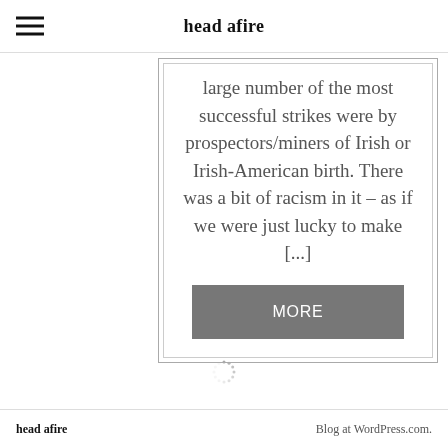head afire
large number of the most successful strikes were by prospectors/miners of Irish or Irish-American birth. There was a bit of racism in it – as if we were just lucky to make [...]
MORE
head afire   Blog at WordPress.com.